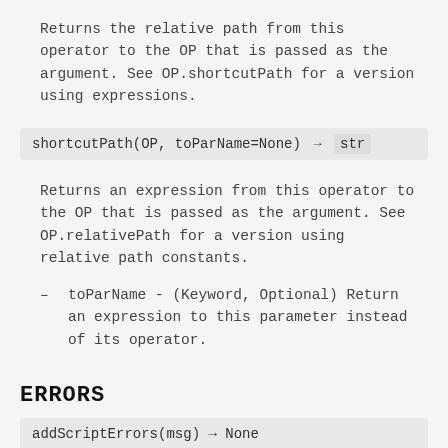Returns the relative path from this operator to the OP that is passed as the argument. See OP.shortcutPath for a version using expressions.
shortcutPath(OP, toParName=None) → str
Returns an expression from this operator to the OP that is passed as the argument. See OP.relativePath for a version using relative path constants.
toParName - (Keyword, Optional) Return an expression to this parameter instead of its operator.
ERRORS
addScriptErrors(msg) → None